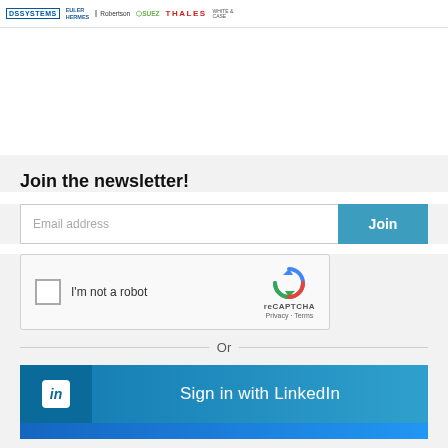DS SYSTEMS  EULER HERMES  Robertson  SUEZ  THALES  WHITE & CASE
Join the newsletter!
[Figure (screenshot): Email address input field with Join button]
[Figure (screenshot): reCAPTCHA widget with checkbox labeled I'm not a robot, reCAPTCHA logo, Privacy and Terms links]
Or
[Figure (screenshot): Sign in with LinkedIn button with LinkedIn logo icon on left side]